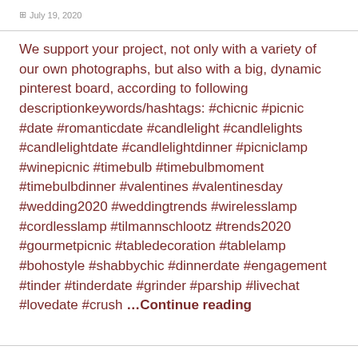July 19, 2020
We support your project, not only with a variety of our own photographs, but also with a big, dynamic pinterest board, according to following descriptionkeywords/hashtags: #chicnic #picnic #date #romanticdate #candlelight #candlelights #candlelightdate #candlelightdinner #picniclamp #winepicnic #timebulb #timebulbmoment #timebulbdinner #valentines #valentinesday #wedding2020 #weddingtrends #wirelesslamp #cordlesslamp #tilmannschlootz #trends2020 #gourmetpicnic #tabledecoration #tablelamp #bohostyle #shabbychic #dinnerdate #engagement #tinder #tinderdate #grinder #parship #livechat #lovedate #crush ...Continue reading